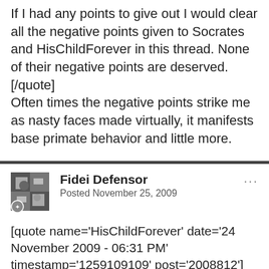If I had any points to give out I would clear all the negative points given to Socrates and HisChildForever in this thread. None of their negative points are deserved.
[/quote]
Often times the negative points strike me as nasty faces made virtually, it manifests base primate behavior and little more.
Fidei Defensor
Posted November 25, 2009
[quote name='HisChildForever' date='24 November 2009 - 06:31 PM' timestamp='1259109109' post='2008812']